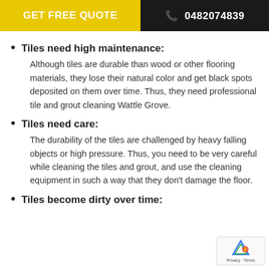GET FREE QUOTE  📞 0482074839
Tiles need high maintenance: Although tiles are durable than wood or other flooring materials, they lose their natural color and get black spots deposited on them over time. Thus, they need professional tile and grout cleaning Wattle Grove.
Tiles need care: The durability of the tiles are challenged by heavy falling objects or high pressure. Thus, you need to be very careful while cleaning the tiles and grout, and use the cleaning equipment in such a way that they don't damage the floor.
Tiles become dirty over time: